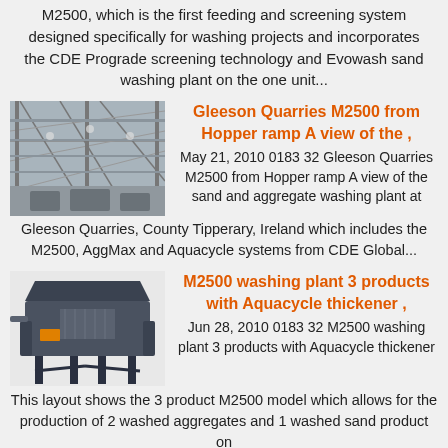M2500, which is the first feeding and screening system designed specifically for washing projects and incorporates the CDE Prograde screening technology and Evowash sand washing plant on the one unit...
[Figure (photo): Interior view of an industrial building with steel roof structure, looking up at trusses and purlins]
Gleeson Quarries M2500 from Hopper ramp A view of the ,
May 21, 2010 0183 32 Gleeson Quarries M2500 from Hopper ramp A view of the sand and aggregate washing plant at Gleeson Quarries, County Tipperary, Ireland which includes the M2500, AggMax and Aquacycle systems from CDE Global...
[Figure (photo): Industrial washing plant machine, M2500 model, dark blue/grey color, shown against a white background]
M2500 washing plant 3 products with Aquacycle thickener ,
Jun 28, 2010 0183 32 M2500 washing plant 3 products with Aquacycle thickener This layout shows the 3 product M2500 model which allows for the production of 2 washed aggregates and 1 washed sand product on